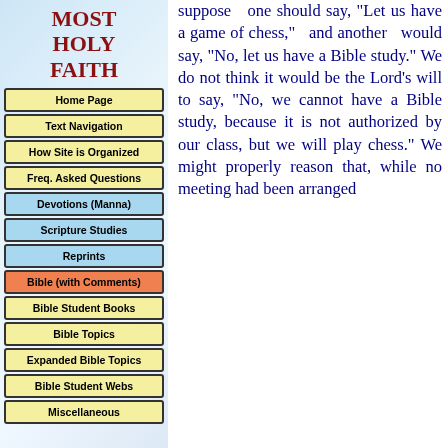MOST HOLY FAITH
Home Page
Text Navigation
How Site is Organized
Freq. Asked Questions
Devotions (Manna)
Scripture Studies
Reprints
Bible (with Comments)
Bible Student Books
Bible Topics
Expanded Bible Topics
Bible Student Webs
Miscellaneous
suppose one should say, "Let us have a game of chess," and another would say, "No, let us have a Bible study." We do not think it would be the Lord's will to say, "No, we cannot have a Bible study, because it is not authorized by our class, but we will play chess." We might properly reason that, while no meeting had been arranged